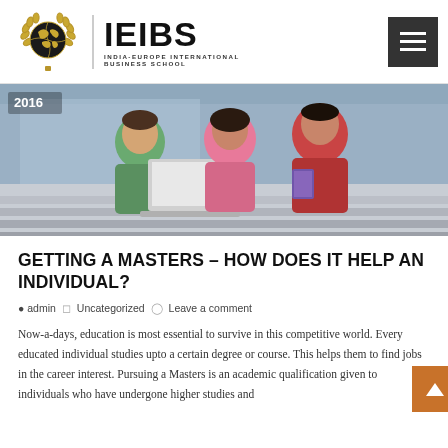[Figure (logo): IEIBS logo with globe emblem surrounded by laurel wreath and text 'IEIBS / INDIA-EUROPE INTERNATIONAL BUSINESS SCHOOL']
[Figure (photo): Three students sitting on stairs looking at a laptop, smiling. Year badge '2016' visible in top-left corner.]
GETTING A MASTERS – HOW DOES IT HELP AN INDIVIDUAL?
admin   Uncategorized   Leave a comment
Now-a-days, education is most essential to survive in this competitive world. Every educated individual studies upto a certain degree or course. This helps them to find jobs in the career interest. Pursuing a Masters is an academic qualification given to individuals who have undergone higher studies and